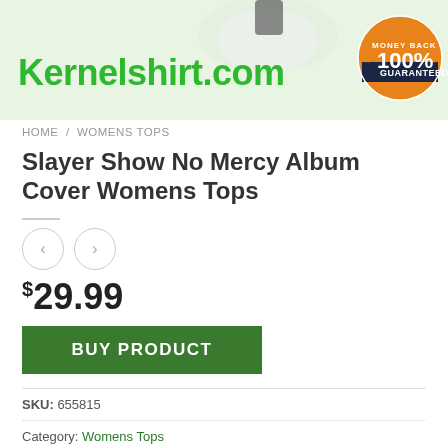[Figure (screenshot): Website banner for Kernelshirt.com with green background, shirt image at top, and a Money Back 100% Guaranteed badge on the right]
HOME / WOMENS TOPS
Slayer Show No Mercy Album Cover Womens Tops
$29.99
BUY PRODUCT
SKU: 655815
Category: Womens Tops
Tags: Gym tank top, Mens tank top